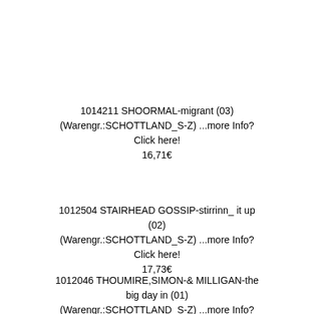1014211 SHOORMAL-migrant (03) (Warengr.:SCHOTTLAND_S-Z) ...more Info? Click here! 16,71€
1012504 STAIRHEAD GOSSIP-stirrinn_ it up (02) (Warengr.:SCHOTTLAND_S-Z) ...more Info? Click here! 17,73€
1012046 THOUMIRE,SIMON-& MILLIGAN-the big day in (01) (Warengr.:SCHOTTLAND_S-Z) ...more Info? Click here!